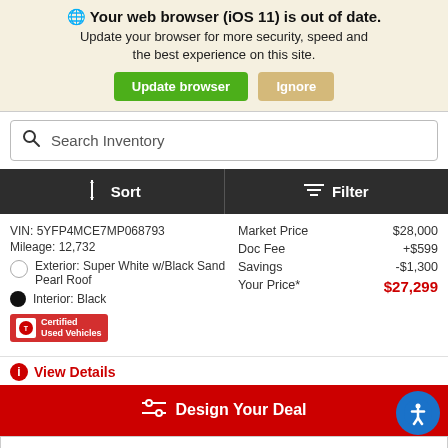Your web browser (iOS 11) is out of date. Update your browser for more security, speed and the best experience on this site.
Search Inventory
Sort   Filter
VIN: 5YFP4MCE7MP068793
Mileage: 12,732
Exterior: Super White w/Black Sand Pearl Roof
Interior: Black
|  |  |
| --- | --- |
| Market Price | $28,000 |
| Doc Fee | +$599 |
| Savings | -$1,300 |
| Your Price* | $27,299 |
Certified Used Vehicles
View Details
Design Your Deal
Request More Info